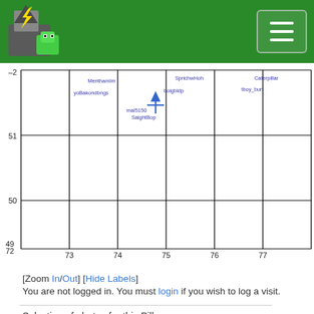[Figure (screenshot): Green navigation header bar with a pixel-art logo (wizard/goblin character) on the left and a hamburger menu button on the right]
[Figure (map): Grid map showing geographic coordinates. X-axis labels: 72, 73, 74, 75, 76, 77. Y-axis labels: 49, 50, 51. Blue usernames/labels clustered around grid square (75,51): MenthamIm, SprichwHoh, Caterpillar, yoBakondbngs, boigbldp, tboy_burt, mal5150, SaightBop. A blue cross/marker symbol is visible at approximately (75,51).]
[Zoom In/Out] [Hide Labels]
You are not logged in. You must login if you wish to log a visit.
Selection of photos for this Pillar.
[Figure (photo): Partial photo of a stone pillar or marker on moorland/grassland, visible at the bottom of the page]